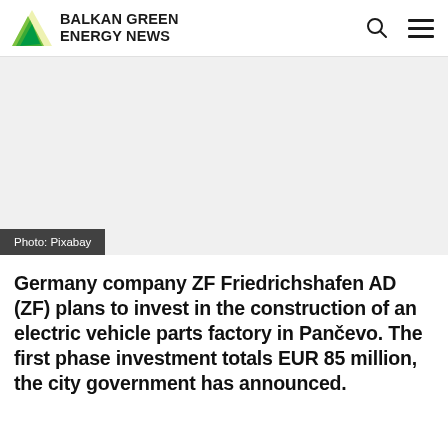BALKAN GREEN ENERGY NEWS
[Figure (photo): White/light grey blank image area with photo credit overlay]
Photo: Pixabay
Germany company ZF Friedrichshafen AD (ZF) plans to invest in the construction of an electric vehicle parts factory in Pančevo. The first phase investment totals EUR 85 million, the city government has announced.